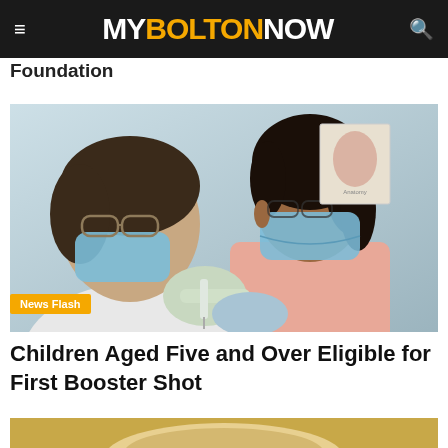MY BOLTON NOW
Foundation
[Figure (photo): A healthcare worker in a white coat and blue surgical mask administers a vaccine injection to a young Black woman wearing a pink sleeveless top and blue surgical mask, in a medical setting. A 'News Flash' badge overlays the bottom-left corner of the image.]
Children Aged Five and Over Eligible for First Booster Shot
[Figure (photo): Partial view of the top of a person's head with light/grey hair, cropped at the bottom of the page.]